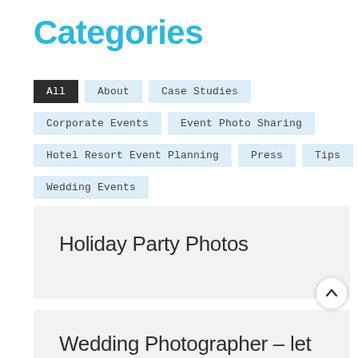Categories
All
About
Case Studies
Corporate Events
Event Photo Sharing
Hotel Resort Event Planning
Press
Tips
Wedding Events
Holiday Party Photos
Wedding Photographer – let your guests do it!